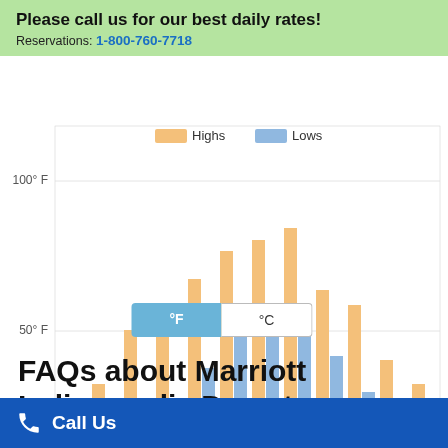Please call us for our best daily rates!
Reservations: 1-800-760-7718
[Figure (grouped-bar-chart): Monthly High and Low Temperatures - Indianapolis]
°F  °C
FAQs about Marriott Indianapolis Downtown
Call Us